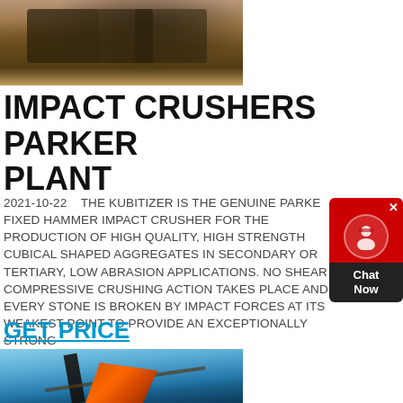[Figure (photo): Industrial crusher/mining equipment on a dirt site with machinery and structures visible]
IMPACT CRUSHERS PARKER PLANT
2021-10-22    THE KUBITIZER IS THE GENUINE PARKER FIXED HAMMER IMPACT CRUSHER FOR THE PRODUCTION OF HIGH QUALITY, HIGH STRENGTH CUBICAL SHAPED AGGREGATES IN SECONDARY OR TERTIARY, LOW ABRASION APPLICATIONS. NO SHEAR OR COMPRESSIVE CRUSHING ACTION TAKES PLACE AND EVERY STONE IS BROKEN BY IMPACT FORCES AT ITS WEAKEST POINT TO PROVIDE AN EXCEPTIONALLY STRONG
[Figure (other): Chat Now widget with red top section showing headset icon and dark bottom section with Chat Now text]
GET PRICE
[Figure (photo): Industrial conveyor belt or crusher equipment against a blue sky background, orange machinery visible]